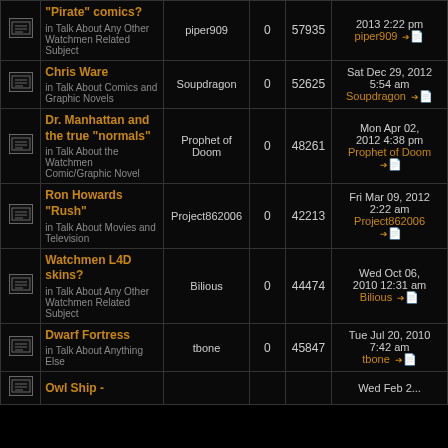|  | Topic | Author | Replies | Views | Last post |
| --- | --- | --- | --- | --- | --- |
| [icon] | "Pirate" comics?
in Talk About Any Other Watchmen Related Subject | piper909 | 0 | 57935 | 2013 2:22 pm
piper909 |
| [icon] | Chris Ware
in Talk About Comics and Graphic Novels | Soupdragon | 0 | 52625 | Sat Dec 29, 2012 5:54 am
Soupdragon |
| [icon] | Dr. Manhattan and the true "normals"
in Talk About the Watchmen Comic/Graphic Novel | Prophet of Doom | 0 | 48261 | Mon Apr 02, 2012 4:38 pm
Prophet of Doom |
| [icon] | Ron Howards "Rush"
in Talk About Movies and Television | Project862006 | 0 | 42213 | Fri Mar 09, 2012 2:22 am
Project862006 |
| [icon] | Watchmen L4D skins?
in Talk About Any Other Watchmen Related Subject | Bilious | 0 | 44474 | Wed Oct 06, 2010 12:31 am
Bilious |
| [icon] | Dwarf Fortress
in Talk About Anything Else | tbone | 0 | 45847 | Tue Jul 20, 2010 7:42 am
tbone |
| [icon] | Owl Ship -
... |  |  |  | Wed Feb 2... |